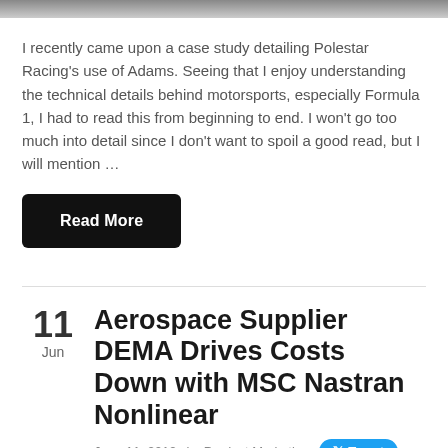[Figure (photo): Top cropped image bar, appears to be a motorsports/racing image, partially visible]
I recently came upon a case study detailing Polestar Racing's use of Adams. Seeing that I enjoy understanding the technical details behind motorsports, especially Formula 1, I had to read this from beginning to end. I won't go too much into detail since I don't want to spoil a good read, but I will mention …
Read More
Aerospace Supplier DEMA Drives Costs Down with MSC Nastran Nonlinear
June 11, 2012   by Product Marketing
Tweet
Share